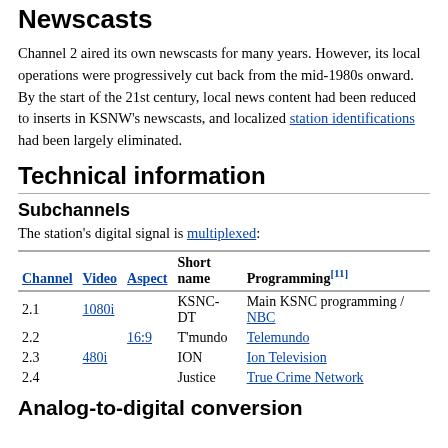Newscasts
Channel 2 aired its own newscasts for many years. However, its local operations were progressively cut back from the mid-1980s onward. By the start of the 21st century, local news content had been reduced to inserts in KSNW's newscasts, and localized station identifications had been largely eliminated.
Technical information
Subchannels
The station's digital signal is multiplexed:
| Channel | Video | Aspect | Short name | Programming[11] |
| --- | --- | --- | --- | --- |
| 2.1 | 1080i |  | KSNC-DT | Main KSNC programming / NBC |
| 2.2 |  | 16:9 | T'mundo | Telemundo |
| 2.3 | 480i |  | ION | Ion Television |
| 2.4 |  |  | Justice | True Crime Network |
Analog-to-digital conversion